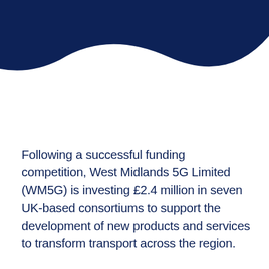[Figure (illustration): Dark navy blue decorative shape/banner in the top-left corner of the page, curving diagonally from the top-left to the upper-right area.]
Following a successful funding competition, West Midlands 5G Limited (WM5G) is investing £2.4 million in seven UK-based consortiums to support the development of new products and services to transform transport across the region.